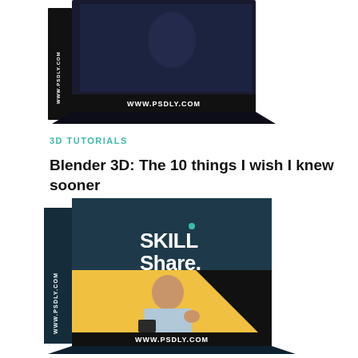[Figure (illustration): Product box with dark/black design showing 'WWW.PSDLY.COM' text on the spine and bottom, partially cropped at top of page]
3D TUTORIALS
Blender 3D: The 10 things I wish I knew sooner
[Figure (illustration): Product box with dark teal/navy top half showing 'SKILL Share.' logo with a green dot, and yellow/black bottom half showing a woman holding a camera. 'WWW.PSDLY.COM' on spine, 'WWW.PSDLY.COM' on bottom.]